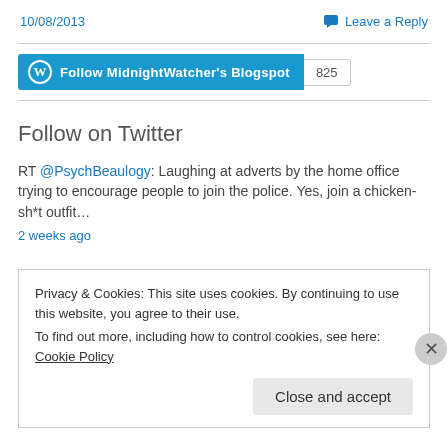10/08/2013
Leave a Reply
[Figure (other): Follow MidnightWatcher's Blogspot WordPress follow button with count 825]
Follow on Twitter
RT @PsychBeaulogy: Laughing at adverts by the home office trying to encourage people to join the police. Yes, join a chicken- sh*t outfit…
2 weeks ago
Privacy & Cookies: This site uses cookies. By continuing to use this website, you agree to their use.
To find out more, including how to control cookies, see here: Cookie Policy
Close and accept